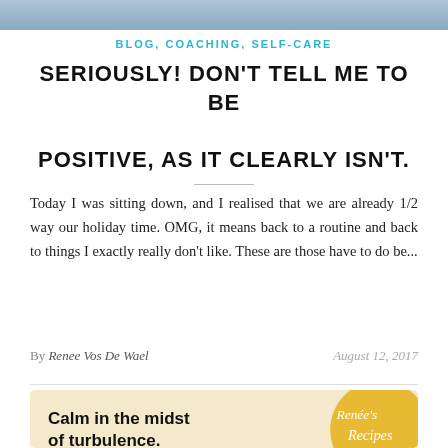[Figure (photo): Top photo strip of a person, partially cropped]
BLOG, COACHING, SELF-CARE
SERIOUSLY! DON'T TELL ME TO BE POSITIVE, AS IT CLEARLY ISN'T.
Today I was sitting down, and I realised that we are already 1/2 way our holiday time. OMG, it means back to a routine and back to things I exactly really don't like. These are those have to do be...
By Renee Vos De Wael   August 12, 2017
[Figure (illustration): Promotional banner: 'Calm in the midst of turbulence.' with Renée's Recipes badge in gold/yellow]